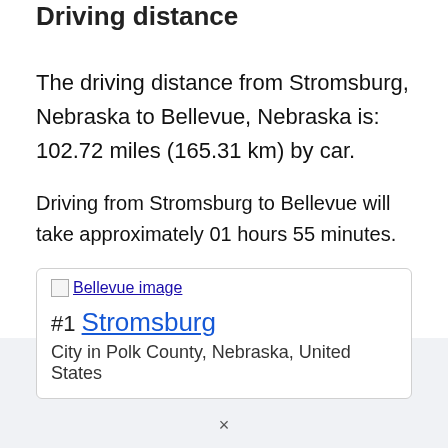Driving distance
The driving distance from Stromsburg, Nebraska to Bellevue, Nebraska is: 102.72 miles (165.31 km) by car.
Driving from Stromsburg to Bellevue will take approximately 01 hours 55 minutes.
[Figure (other): Card showing Bellevue image link and Stromsburg city info. #1 Stromsburg, City in Polk County, Nebraska, United States]